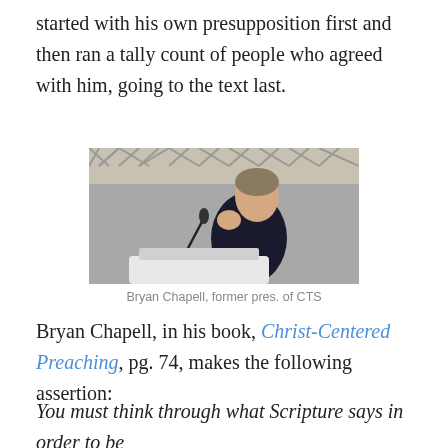started with his own presupposition first and then ran a tally count of people who agreed with him, going to the text last.
[Figure (photo): Bryan Chapell, a man in a dark suit gesturing with his fist raised, standing behind a white pulpit/podium in what appears to be a church or auditorium setting.]
Bryan Chapell, former pres. of CTS
Bryan Chapell, in his book, Christ-Centered Preaching, pg. 74, makes the following assertion:
You must think through what Scripture says in order to be